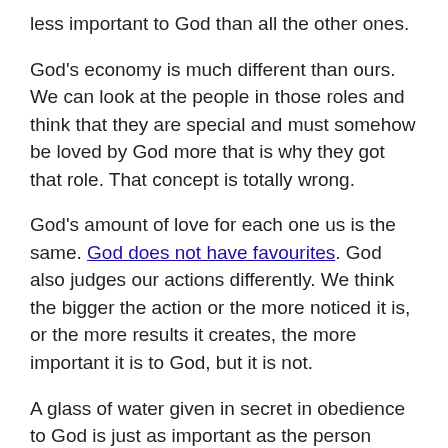less important to God than all the other ones.
God's economy is much different than ours. We can look at the people in those roles and think that they are special and must somehow be loved by God more that is why they got that role. That concept is totally wrong.
God's amount of love for each one us is the same. God does not have favourites. God also judges our actions differently. We think the bigger the action or the more noticed it is, or the more results it creates, the more important it is to God, but it is not.
A glass of water given in secret in obedience to God is just as important as the person standing on stage winning thousands to Christ. God sees the big picture, throughout all time and He knows what one cup of water can accomplish over eternity.